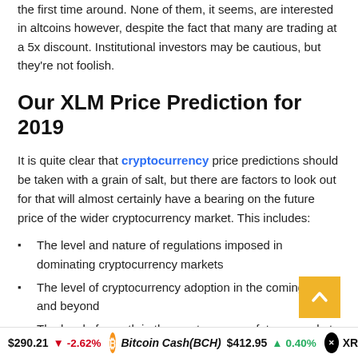the first time around. None of them, it seems, are interested in altcoins however, despite the fact that many are trading at a 5x discount. Institutional investors may be cautious, but they're not foolish.
Our XLM Price Prediction for 2019
It is quite clear that cryptocurrency price predictions should be taken with a grain of salt, but there are factors to look out for that will almost certainly have a bearing on the future price of the wider cryptocurrency market. This includes:
The level and nature of regulations imposed in dominating cryptocurrency markets
The level of cryptocurrency adoption in the coming year and beyond
The level of growth in the cryptocurrency futures market
The utility of tokens and the ability of the underlying
$290.21  -2.62%   Bitcoin Cash(BCH)  $412.95  0.40%   XRP